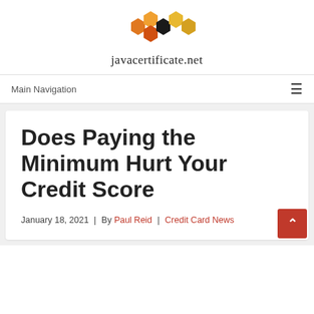[Figure (logo): javacertificate.net logo with honeycomb hexagon icons in orange, dark orange, and black colors above the site name text]
Main Navigation ≡
Does Paying the Minimum Hurt Your Credit Score
January 18, 2021 | By Paul Reid | Credit Card News